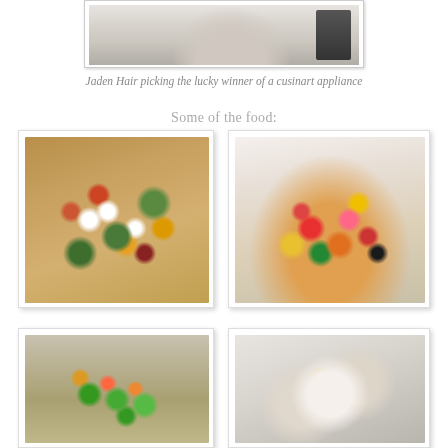[Figure (photo): Top portion of photo showing Jaden Hair picking the lucky winner of a Cuisinart appliance - partial view of a person near kitchen appliance]
Jaden Hair picking the lucky winner of a cusinart appliance
Some of the food:
[Figure (photo): Close-up photo of a colorful salad with feta cheese cubes, olives, tomatoes, basil leaves, and various vegetables on a white plate]
[Figure (photo): Photo of a fruit platter with watermelon slices, mango, strawberries, blackberries, carrots, and other fruits with a dip bowl in background]
[Figure (photo): Partial photo of a green salad with colorful toppings on a table setting]
[Figure (photo): Partial photo of food items and dishes on a table]